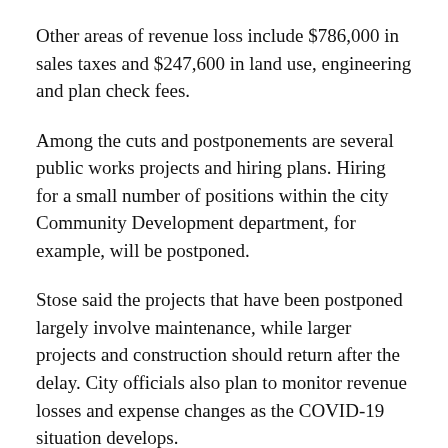Other areas of revenue loss include $786,000 in sales taxes and $247,600 in land use, engineering and plan check fees.
Among the cuts and postponements are several public works projects and hiring plans. Hiring for a small number of positions within the city Community Development department, for example, will be postponed.
Stose said the projects that have been postponed largely involve maintenance, while larger projects and construction should return after the delay. City officials also plan to monitor revenue losses and expense changes as the COVID-19 situation develops.
“We’re just sad to see this road block right now,” Stose said. “Construction will get going, and we’ll be full speed ahead.”